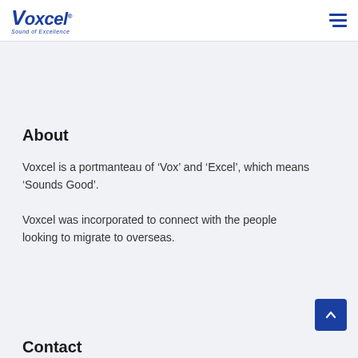Voxcel — Sound of Excellence (logo) + hamburger menu
About
Voxcel is a portmanteau of ‘Vox’ and ‘Excel’, which means ‘Sounds Good’.
Voxcel was incorporated to connect with the people looking to migrate to overseas.
Contact